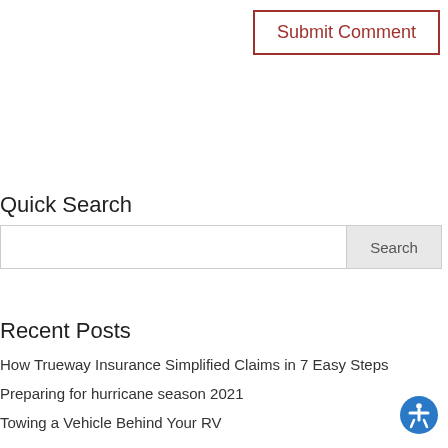Submit Comment
Quick Search
Search
Recent Posts
How Trueway Insurance Simplified Claims in 7 Easy Steps
Preparing for hurricane season 2021
Towing a Vehicle Behind Your RV